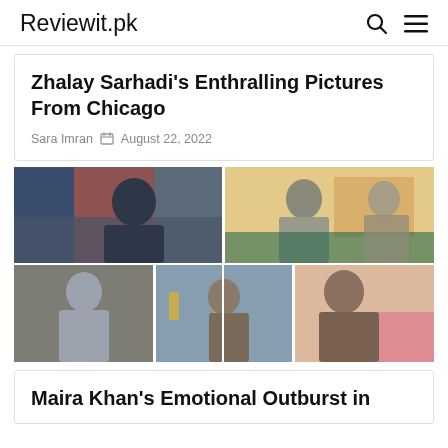Reviewit.pk
Zhalay Sarhadi's Enthralling Pictures From Chicago
Sara Imran  August 22, 2022
[Figure (photo): A 2x2 grid of reality TV show stills showing contestants in a colorful house setting. Top left: a man with glasses thinking. Top right: a woman in grey top. Bottom row: three women in various emotional states.]
Maira Khan's Emotional Outburst in